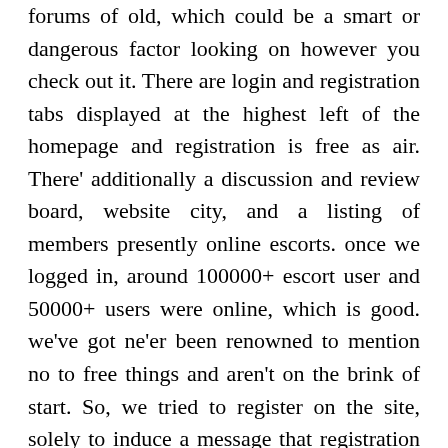forums of old, which could be a smart or dangerous factor looking on however you check out it. There are login and registration tabs displayed at the highest left of the homepage and registration is free as air. There' additionally a discussion and review board, website city, and a listing of members presently online escorts. once we logged in, around 100000+ escort user and 50000+ users were online, which is good. we've got ne'er been renowned to mention no to free things and aren't on the brink of start. So, we tried to register on the site, solely to induce a message that registration was presently disabled. Imagine our despair and our very cries of sorrow! we created the simplest of the hand we